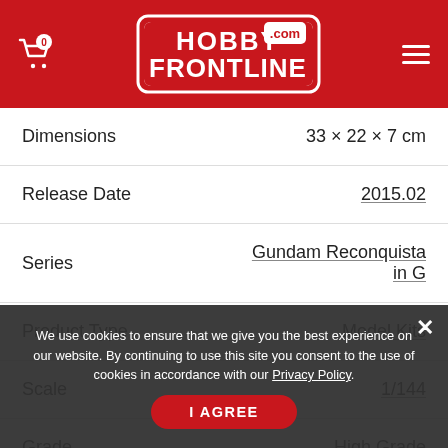HobbyFrontline.com — site header with cart icon and hamburger menu
| Field | Value |
| --- | --- |
| Dimensions | 33 × 22 × 7 cm |
| Release Date | 2015.02 |
| Series | Gundam Reconquista in G |
| Product Type | Model Kits |
| Scale | 1/144 |
| Grade | High Grade |
| Suitable Age | 8+ |
| Assembly | Snap together, no glue required. |
We use cookies to ensure that we give you the best experience on our website. By continuing to use this site you consent to the use of cookies in accordance with our Privacy Policy.